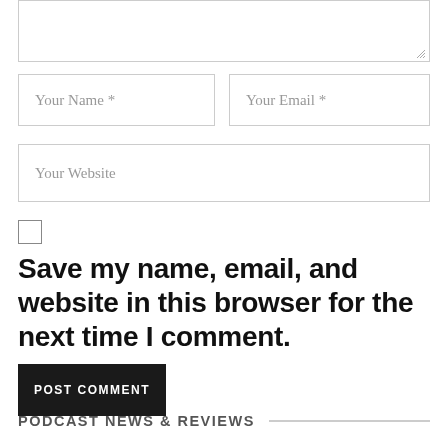[Figure (screenshot): Textarea input field (comment box) with resize handle at bottom-right]
[Figure (screenshot): Two form input fields side by side: 'Your Name *' and 'Your Email *']
[Figure (screenshot): Form input field: 'Your Website']
[Figure (screenshot): Checkbox (unchecked)]
Save my name, email, and website in this browser for the next time I comment.
[Figure (screenshot): Black button labeled 'POST COMMENT']
PODCAST NEWS & REVIEWS